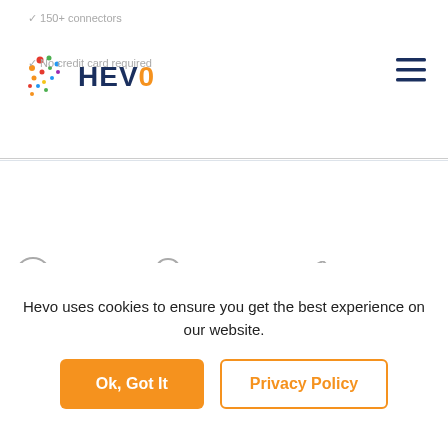[Figure (logo): Hevo Data logo with colorful dots and HEVO text in dark blue, plus navigation hamburger menu]
✓ 150+ connectors
✓ No credit card required
[Figure (logo): Napster logo - circular face icon with 'napster' italic text in gray]
[Figure (logo): Swiggy logo - teardrop/location pin icon with 'SWIGGY' text in gray]
[Figure (logo): Deliveroo/Deliver logo - stylized arrow/wing icon with 'Deliver' text in gray]
Hevo uses cookies to ensure you get the best experience on our website.
Ok, Got It
Privacy Policy